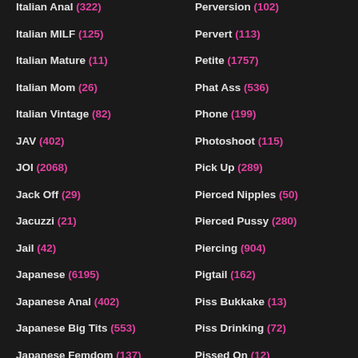Italian Anal (322)
Italian MILF (125)
Italian Mature (11)
Italian Mom (26)
Italian Vintage (82)
JAV (402)
JOI (2068)
Jack Off (29)
Jacuzzi (21)
Jail (42)
Japanese (6195)
Japanese Anal (402)
Japanese Big Tits (553)
Japanese Femdom (137)
Japanese In Public (57)
Japanese Lesbian (122)
Perversion (102)
Pervert (113)
Petite (1757)
Phat Ass (536)
Phone (199)
Photoshoot (115)
Pick Up (289)
Pierced Nipples (50)
Pierced Pussy (280)
Piercing (904)
Pigtail (162)
Piss Bukkake (13)
Piss Drinking (72)
Pissed On (12)
Pissing (721)
Pizza (49)